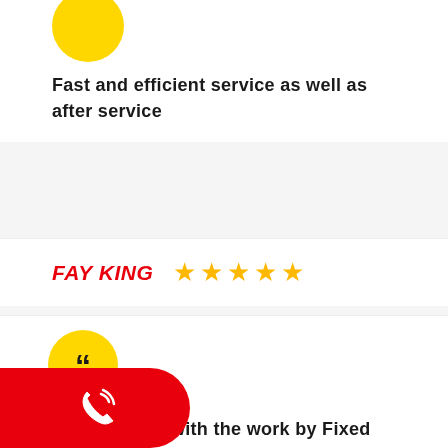[Figure (illustration): Yellow circular avatar at top of first review card]
Fast and efficient service as well as after service
FAY KING ★★★★★
[Figure (illustration): Yellow circular quotation mark icon for second review card]
Very pleased with the work by Fixed Today. Punctual, courteous workers, all tasks completed to a very high standard. Don't think I could find a better plumbing contractor
[Figure (illustration): Red call/phone button at bottom left]